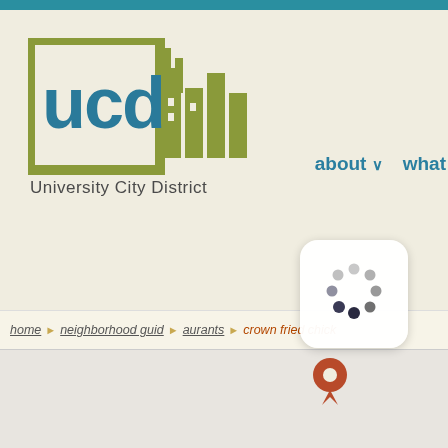[Figure (logo): University City District logo with stylized UCD letters and cityscape graphic in olive green and teal]
about ∨  what
home ▸ neighborhood guide ▸ restaurants ▸ crown fried chick...
[Figure (infographic): Loading spinner with dots arranged in a circle, darker dots at bottom]
[Figure (map): Partially loaded map with a red location pin marker]